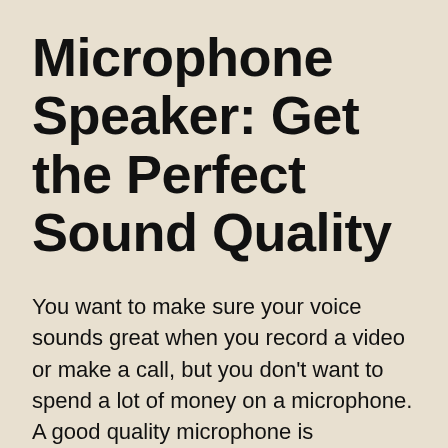Microphone Speaker: Get the Perfect Sound Quality
You want to make sure your voice sounds great when you record a video or make a call, but you don't want to spend a lot of money on a microphone. A good quality microphone is important, but they can be expensive. The Microphone Speaker is the perfect solution. This device will amplify your voice and make it sound clear and crisp